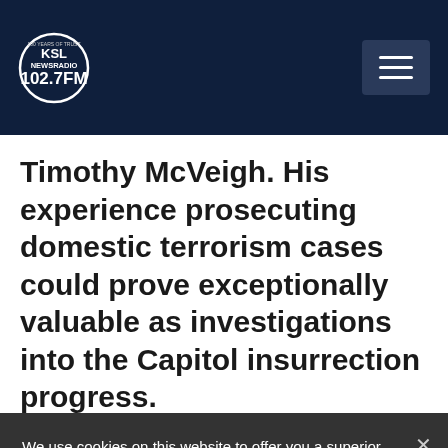KSL NewsRadio 102.7FM
Timothy McVeigh. His experience prosecuting domestic terrorism cases could prove exceptionally valuable as investigations into the Capitol insurrection progress.
We use cookies on this website to offer you a superior user experience, analyze site traffic, and personalize content and advertisements. By continuing to use our site, you consent to our use of cookies. Please visit our Privacy Policy for more information.
Accept Cookies